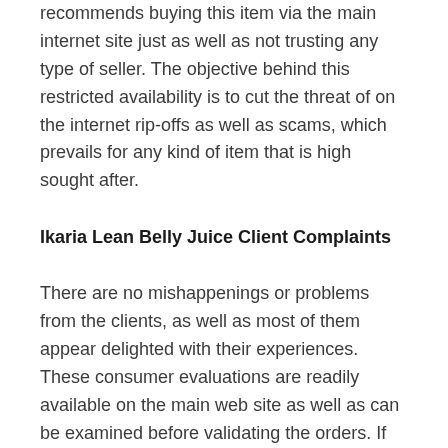recommends buying this item via the main internet site just as well as not trusting any type of seller. The objective behind this restricted availability is to cut the threat of on the internet rip-offs as well as scams, which prevails for any kind of item that is high sought after.
Ikaria Lean Belly Juice Client Complaints
There are no mishappenings or problems from the clients, as well as most of them appear delighted with their experiences. These consumer evaluations are readily available on the main web site as well as can be examined before validating the orders. If you are experiencing any kind of trouble or problem while utilizing this product, reach out to the business with the call info stated